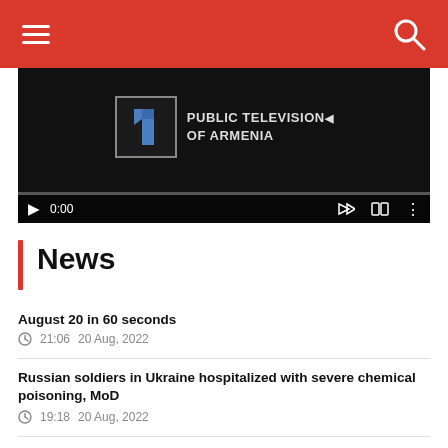Public Television of Armenia — navigation header with hamburger menu and search icon
[Figure (screenshot): Video player showing Public Television of Armenia logo, paused at 0:00 with a progress bar at the bottom]
News
August 20 in 60 seconds
21:06   20 Aug, 2022
Russian soldiers in Ukraine hospitalized with severe chemical poisoning, MoD
19:18   20 Aug, 2022
Guterres says U.N. working with U.S. and EU to get Russian food to markets